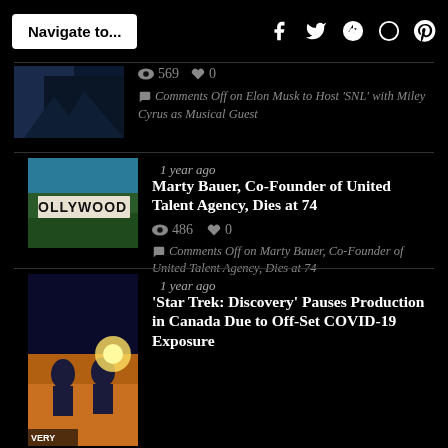Navigate to...
569  0
Comments Off on Elon Musk to Host ‘SNL’ with Miley Cyrus as Musical Guest
1 year ago
Marty Bauer, Co-Founder of United Talent Agency, Dies at 74
486  0
Comments Off on Marty Bauer, Co-Founder of United Talent Agency, Dies at 74
1 year ago
‘Star Trek: Discovery’ Pauses Production in Canada Due to Off-Set COVID-19 Exposure